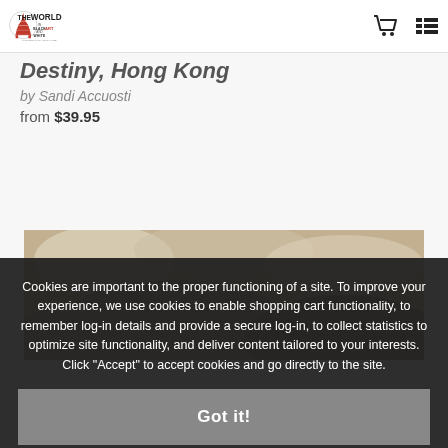THE WORLD IN BLACK AND WHITE ART — Photographic Art by Sandi
Destiny, Hong Kong
by Sandi Accuosti
from $39.95
[Figure (photo): Sepia-toned photograph, partially visible, showing a rocky/cloudy outdoor scene]
Cookies are important to the proper functioning of a site. To improve your experience, we use cookies to enable shopping cart functionality, to remember log-in details and provide a secure log-in, to collect statistics to optimize site functionality, and deliver content tailored to your interests. Click "Accept" to accept cookies and go directly to the site.
Got it!